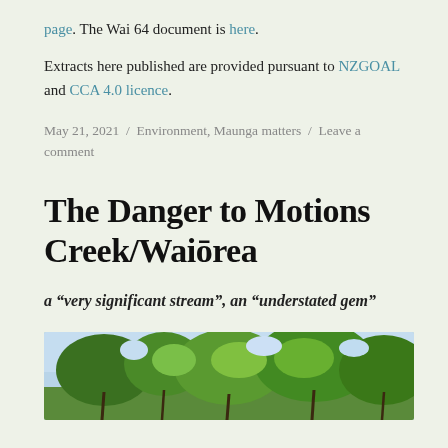page. The Wai 64 document is here.
Extracts here published are provided pursuant to NZGOAL and CCA 4.0 licence.
May 21, 2021 / Environment, Maunga matters / Leave a comment
The Danger to Motions Creek/Waiōrea
a “very significant stream”, an “understated gem”
[Figure (photo): Photograph of trees with green foliage against a blue sky, appearing to be taken near a stream or creek area.]